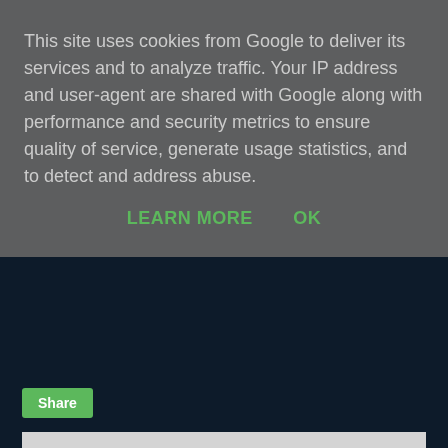This site uses cookies from Google to deliver its services and to analyze traffic. Your IP address and user-agent are shared with Google along with performance and security metrics to ensure quality of service, generate usage statistics, and to detect and address abuse.
LEARN MORE    OK
Share
No comments:
Post a Comment
‹
Home
›
View web version
Powered by Blogger.